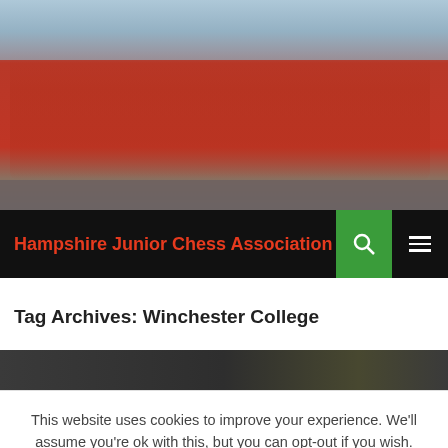[Figure (photo): Group photo of children in red polo shirts posed in front of a building, smiling and laughing]
Hampshire Junior Chess Association
Tag Archives: Winchester College
[Figure (photo): Partial view of an indoor chess venue]
This website uses cookies to improve your experience. We'll assume you're ok with this, but you can opt-out if you wish.
Cookie settings  ACCEPT